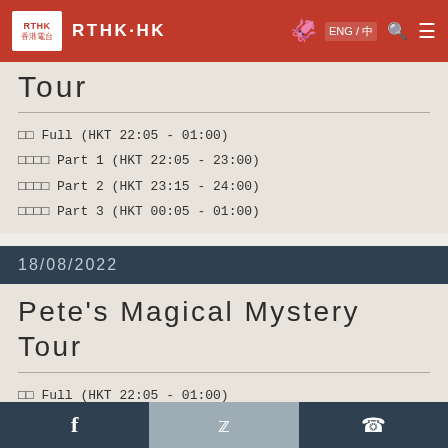RTHK HK - RTHK·HK
Tour
□□ Full (HKT 22:05 - 01:00)
□□□□ Part 1 (HKT 22:05 - 23:00)
□□□□ Part 2 (HKT 23:15 - 24:00)
□□□□ Part 3 (HKT 00:05 - 01:00)
18/08/2022
Pete's Magical Mystery Tour
□□ Full (HKT 22:05 - 01:00)
□□□□ Part 1 (HKT 22:05 - 23:00)
Facebook  Twitter  WhatsApp